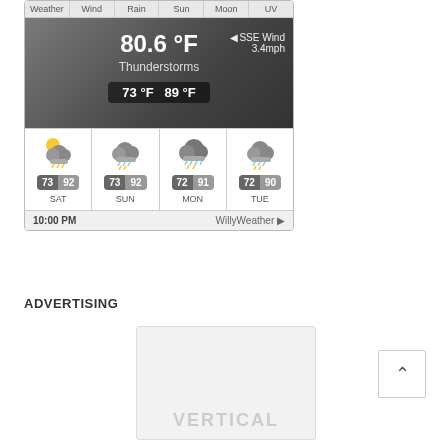[Figure (screenshot): Weather widget showing current conditions: 80.6°F, Thunderstorms, SSE Wind 3.4mph, hi/lo 73°F/89°F. Four-day forecast: SAT 73/92, SUN 73/92, MON 72/91, TUE 72/90. Footer shows 10:00 PM and WillyWeather logo.]
ADVERTISING
[Figure (other): Gray placeholder ad box with the word VERTICAL in light gray text at the bottom.]